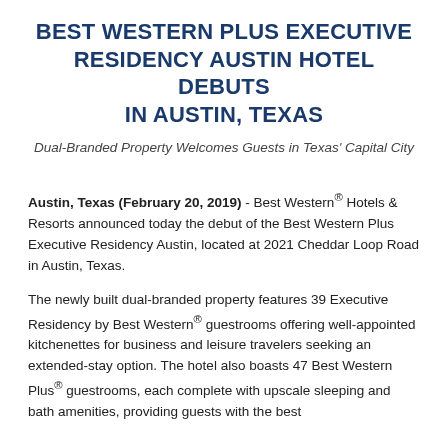BEST WESTERN PLUS EXECUTIVE RESIDENCY AUSTIN HOTEL DEBUTS IN AUSTIN, TEXAS
Dual-Branded Property Welcomes Guests in Texas' Capital City
Austin, Texas (February 20, 2019) - Best Western® Hotels & Resorts announced today the debut of the Best Western Plus Executive Residency Austin, located at 2021 Cheddar Loop Road in Austin, Texas.
The newly built dual-branded property features 39 Executive Residency by Best Western® guestrooms offering well-appointed kitchenettes for business and leisure travelers seeking an extended-stay option. The hotel also boasts 47 Best Western Plus® guestrooms, each complete with upscale sleeping and bath amenities, providing guests with the best